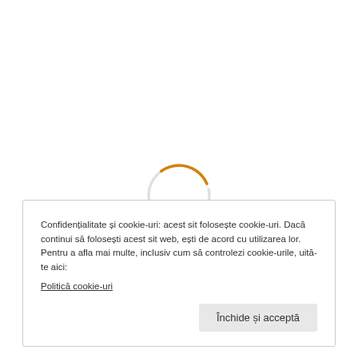[Figure (other): A circular loading spinner with an orange/golden arc on a white background, showing a partially complete circle indicating a loading state.]
Confidențialitate și cookie-uri: acest sit folosește cookie-uri. Dacă continui să folosești acest sit web, ești de acord cu utilizarea lor.
Pentru a afla mai multe, inclusiv cum să controlezi cookie-urile, uită-te aici:
Politică cookie-uri
Închide și acceptă